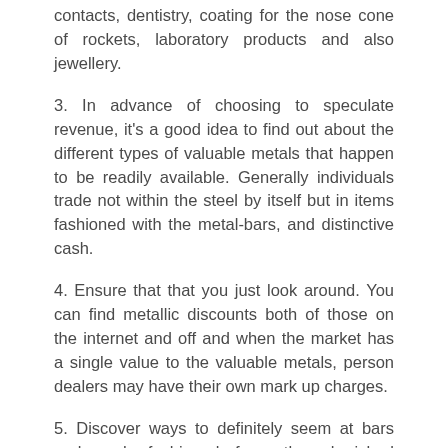contacts, dentistry, coating for the nose cone of rockets, laboratory products and also jewellery.
3. In advance of choosing to speculate revenue, it's a good idea to find out about the different types of valuable metals that happen to be readily available. Generally individuals trade not within the steel by itself but in items fashioned with the metal-bars, and distinctive cash.
4. Ensure that that you just look around. You can find metallic discounts both of those on the internet and off and when the market has a single value to the valuable metals, person dealers may have their own mark up charges.
5. Discover ways to definitely seem at bars and cash fashioned from the cherished metals. Imperfections, the look and also the general situation from the bars and coins will affect the buying and selling price of the investment decision.
6. Since important metals fluctuate a lot of in price tag, they ought to not be the only thing you spend in. Of your overall financial commitment portfolio, cherished metals really should